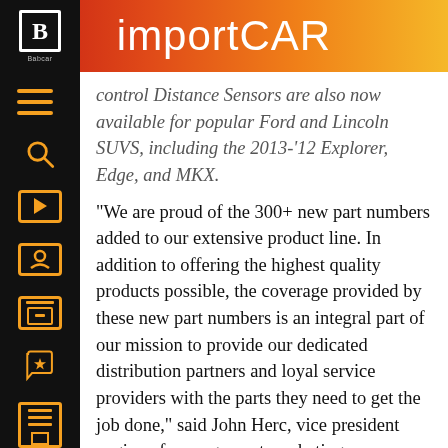importCAR
control Distance Sensors are also now available for popular Ford and Lincoln SUVS, including the 2013-'12 Explorer, Edge, and MKX.
“We are proud of the 300+ new part numbers added to our extensive product line. In addition to offering the highest quality products possible, the coverage provided by these new part numbers is an integral part of our mission to provide our dedicated distribution partners and loyal service providers with the parts they need to get the job done,” said John Herc, vice president engine of management marketing.
SMP adds its turbocharger program continues to grow with the release of four new Turbocharger